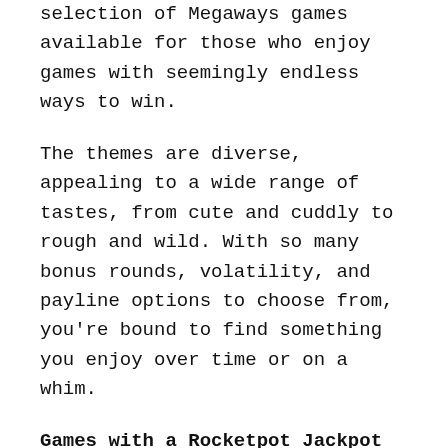selection of Megaways games available for those who enjoy games with seemingly endless ways to win.
The themes are diverse, appealing to a wide range of tastes, from cute and cuddly to rough and wild. With so many bonus rounds, volatility, and payline options to choose from, you're bound to find something you enjoy over time or on a whim.
Games with a Rocketpot Jackpot
Jackpot games are another strong Rocketpot category. Jackpot, of course, is an abbreviation for progressive jackpot games, which